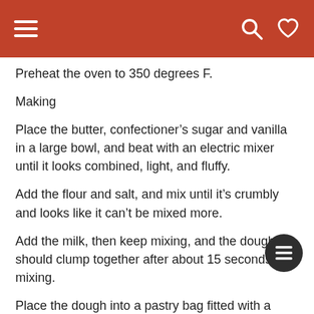Navigation header with hamburger menu, search, and heart icons
Preheat the oven to 350 degrees F.
Making
Place the butter, confectioner’s sugar and vanilla in a large bowl, and beat with an electric mixer until it looks combined, light, and fluffy.
Add the flour and salt, and mix until it’s crumbly and looks like it can’t be mixed more.
Add the milk, then keep mixing, and the dough should clump together after about 15 seconds of mixing.
Place the dough into a pastry bag fitted with a large star tip, and pipe onto a silicone mat lined baking sheet, with no more than 12 cookies per sheet.
Bake the cookies for 15 minutes or until lightly golden.